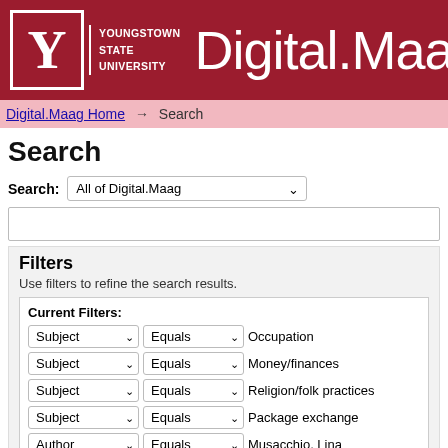[Figure (logo): Youngstown State University logo with Y letter and Digital.Maag text on dark red background]
Digital.Maag Home → Search
Search
Search: All of Digital.Maag
Filters
Use filters to refine the search results.
Current Filters:
Subject ∨ Equals ∨ Occupation
Subject ∨ Equals ∨ Money/finances
Subject ∨ Equals ∨ Religion/folk practices
Subject ∨ Equals ∨ Package exchange
Author ∨ Equals ∨ Musacchio, Lina